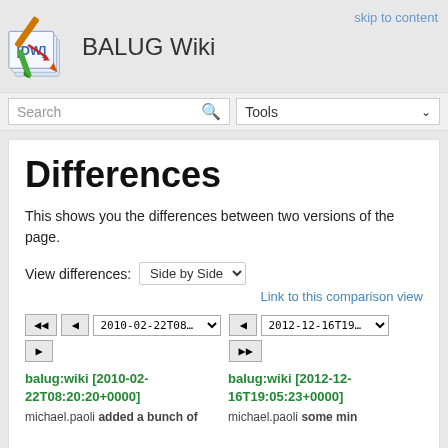BALUG Wiki
skip to content
Differences
This shows you the differences between two versions of the page.
View differences: Side by Side
Link to this comparison view
balug:wiki [2010-02-22T08:20:20+0000]
balug:wiki [2012-12-16T19:05:23+0000]
michael.paoli added a bunch of michael.paoli some min